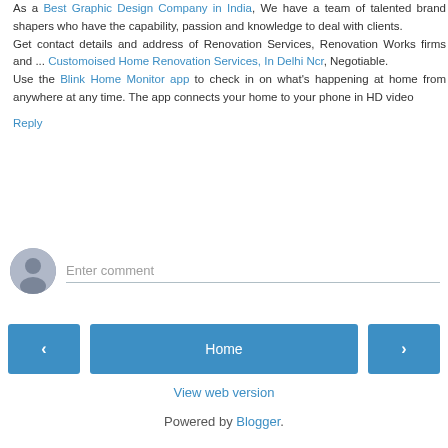As a Best Graphic Design Company in India, We have a team of talented brand shapers who have the capability, passion and knowledge to deal with clients.
Get contact details and address of Renovation Services, Renovation Works firms and ... Customoised Home Renovation Services, In Delhi Ncr, Negotiable.
Use the Blink Home Monitor app to check in on what's happening at home from anywhere at any time. The app connects your home to your phone in HD video
Reply
[Figure (other): User avatar placeholder icon - grey circular avatar with silhouette]
Enter comment
< Home >
View web version
Powered by Blogger.